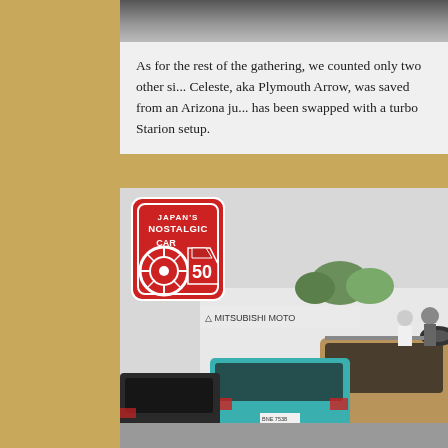[Figure (photo): Top portion of a photo showing a road/parking area, cropped at top of page]
As for the rest of the gathering, we counted only two other si... Celeste, aka Plymouth Arrow, was saved from an Arizona ju... has been swapped with a turbo Starion setup.
[Figure (photo): Photo of cars in a parking lot near a Mitsubishi Motors dealership. Visible are a teal/turquoise car, a gold/tan SUV or wagon, people in background, trees, and a Mitsubishi Motors sign. A Japanese Nostalgic Car logo/sticker is overlaid in the upper left corner.]